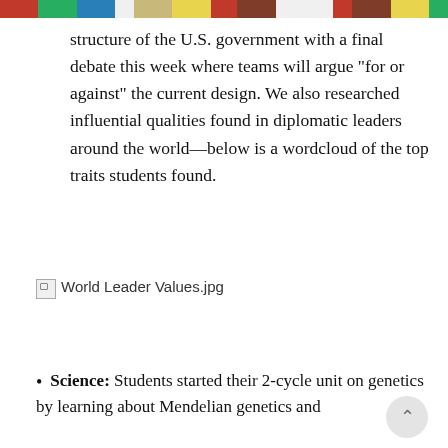Colored bar header
structure of the U.S. government with a final debate this week where teams will argue “for or against” the current design. We also researched influential qualities found in diplomatic leaders around the world—below is a wordcloud of the top traits students found.
[Figure (other): Broken image placeholder labeled 'World Leader Values.jpg']
Science: Students started their 2-cycle unit on genetics by learning about Mendelian genetics and